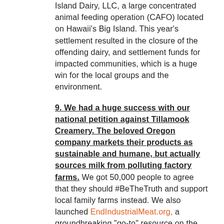Island Dairy, LLC, a large concentrated animal feeding operation (CAFO) located on Hawaii's Big Island. This year's settlement resulted in the closure of the offending dairy, and settlement funds for impacted communities, which is a huge win for the local groups and the environment.
9. We had a huge success with our national petition against Tillamook Creamery. The beloved Oregon company markets their products as sustainable and humane, but actually sources milk from polluting factory farms. We got 50,000 people to agree that they should #BeTheTruth and support local family farms instead. We also launched EndIndustrialMeat.org, a groundbreaking "go-to" resource on the impacts of industrial animal agriculture and alternatives to the system.
CES is protecting water and pollinators in